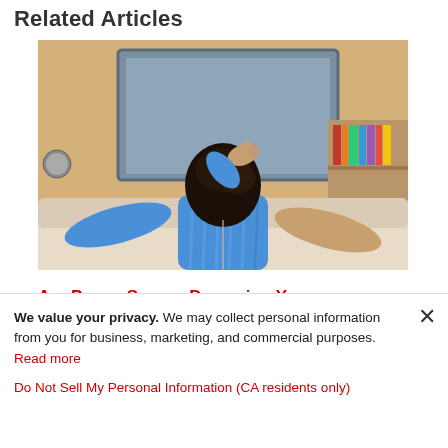Related Articles
[Figure (photo): Person sitting on a couch viewed from behind, hand on head, looking at a television with static or a blank/snowy screen, bookshelf visible in background]
Are Power Surges Damaging Your Electronics?
We value your privacy. We may collect personal information from you for business, marketing, and commercial purposes. Read more
Do Not Sell My Personal Information (CA residents only)